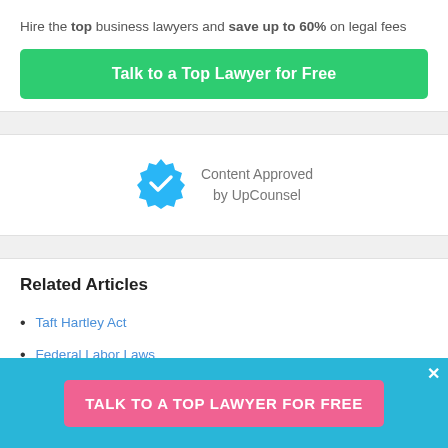Hire the top business lawyers and save up to 60% on legal fees
Talk to a Top Lawyer for Free
[Figure (logo): Blue verified badge with white checkmark — Content Approved by UpCounsel]
Content Approved by UpCounsel
Related Articles
Taft Hartley Act
Federal Labor Laws
What Do Right to Work Laws Prohibit
TALK TO A TOP LAWYER FOR FREE